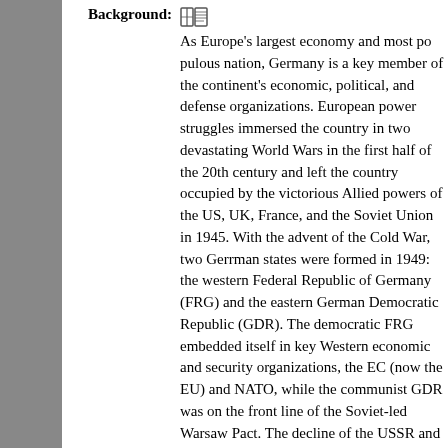Background:
As Europe's largest economy and most populous nation, Germany is a key member of the continent's economic, political, and defense organizations. European power struggles immersed the country in two devastating World Wars in the first half of the 20th century and left the country occupied by the victorious Allied powers of the US, UK, France, and the Soviet Union in 1945. With the advent of the Cold War, two German states were formed in 1949: the western Federal Republic of Germany (FRG) and the eastern German Democratic Republic (GDR). The democratic FRG embedded itself in key Western economic and security organizations, the EC (now the EU) and NATO, while the communist GDR was on the front line of the Soviet-led Warsaw Pact. The decline of the USSR and the end of the Cold War allowed German unification in 1990. Since then Germany has expended considerable funds to bring eastern productivity and wages up to western standards. In January 2002, Germany and 11 other EU countries introduced a common European currency, the euro.
Geography   Germany
Location:
Central Europe, bordering the Baltic Sea and the North Sea, between the Netherlands and Poland, south of Denmark
Geographic coordinates:
51 00 N, 9 00 E